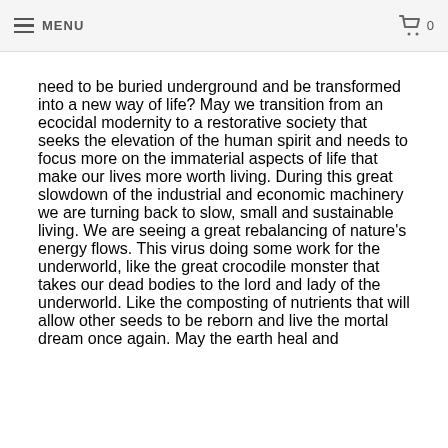MENU  0
need to be buried underground and be transformed into a new way of life? May we transition from an ecocidal modernity to a restorative society that seeks the elevation of the human spirit and needs to focus more on the immaterial aspects of life that make our lives more worth living. During this great slowdown of the industrial and economic machinery we are turning back to slow, small and sustainable living. We are seeing a great rebalancing of nature's energy flows. This virus doing some work for the underworld, like the great crocodile monster that takes our dead bodies to the lord and lady of the underworld. Like the composting of nutrients that will allow other seeds to be reborn and live the mortal dream once again. May the earth heal and